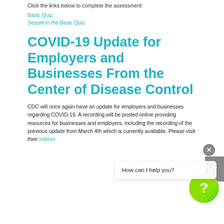Click the links below to complete the assessment:
Basic Quiz
Sequel to the Basic Quiz
COVID-19 Update for Employers and Businesses From the Center of Disease Control
CDC will once again have an update for employers and businesses regarding COVID-19. A recording will be posted online providing resources for businesses and employers, including the recording of the previous update from March 4th which is currently available. Please visit their Interim